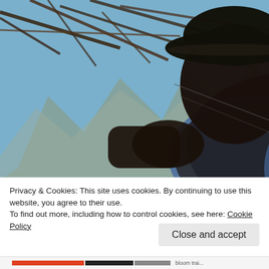[Figure (photo): A man wearing a dark bowler hat and a blue shirt, looking downward, photographed in silhouette/shadow against a backdrop of rocky mountains under a bright blue sky, with a rustic bamboo or wooden structure overhead.]
Privacy & Cookies: This site uses cookies. By continuing to use this website, you agree to their use.
To find out more, including how to control cookies, see here: Cookie Policy